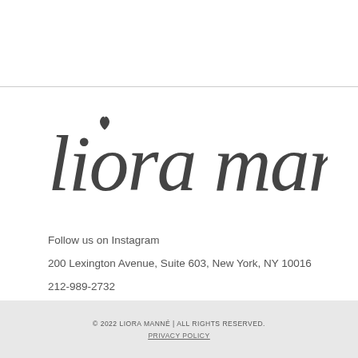[Figure (logo): Liora Manné cursive script logo in dark gray]
Follow us on Instagram
200 Lexington Avenue, Suite 603, New York, NY 10016
212-989-2732
info@lioramanne.com
© 2022 LIORA MANNÉ | ALL RIGHTS RESERVED.
PRIVACY POLICY